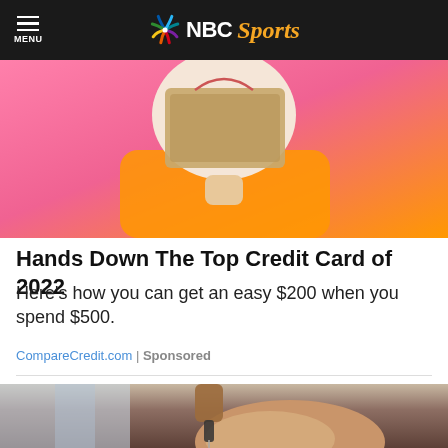MENU NBC Sports
[Figure (photo): A person in a pink and orange outfit holding a brown card in front of their face against a pink background.]
Hands Down The Top Credit Card of 2022
Here's how you can get an easy $200 when you spend $500.
CompareCredit.com | Sponsored
[Figure (photo): A woman tilting her head back with a dropper near her mouth, hand visible holding the dropper.]